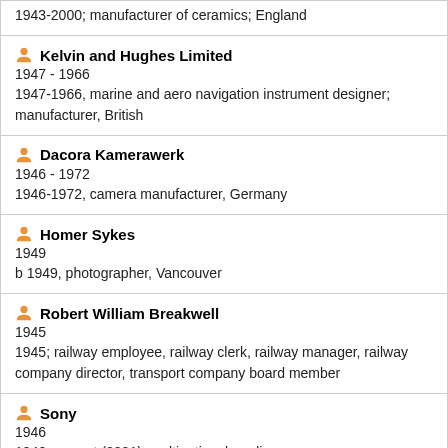1943-2000; manufacturer of ceramics; England
Kelvin and Hughes Limited
1947 - 1966
1947-1966, marine and aero navigation instrument designer; manufacturer, British
Dacora Kamerawerk
1946 - 1972
1946-1972, camera manufacturer, Germany
Homer Sykes
1949
b 1949, photographer, Vancouver
Robert William Breakwell
1945
1945; railway employee, railway clerk, railway manager, railway company director, transport company board member
Sony
1946
1946, current (2001), multinational media